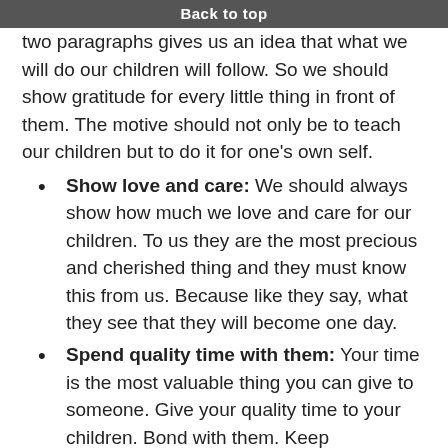Back to top
two paragraphs gives us an idea that what we will do our children will follow. So we should show gratitude for every little thing in front of them. The motive should not only be to teach our children but to do it for one's own self.
Show love and care: We should always show how much we love and care for our children. To us they are the most precious and cherished thing and they must know this from us. Because like they say, what they see that they will become one day.
Spend quality time with them: Your time is the most valuable thing you can give to someone. Give your quality time to your children. Bond with them. Keep distractions like mobile or tab away  while you are with them.
Make them realize the gifts: Our children are living a blessed life. We should make them realize how fortunate they are. They have a roof over their head, food to eat, loving parents, caring friends. These are